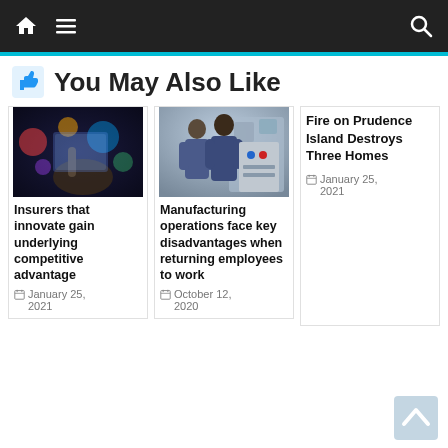Navigation bar with home, menu, and search icons
You May Also Like
[Figure (photo): Person touching a glowing tablet screen with colorful bokeh lights in background]
Insurers that innovate gain underlying competitive advantage
January 25, 2021
[Figure (photo): Two workers in blue uniforms operating industrial manufacturing equipment]
Manufacturing operations face key disadvantages when returning employees to work
October 12, 2020
Fire on Prudence Island Destroys Three Homes
January 25, 2021